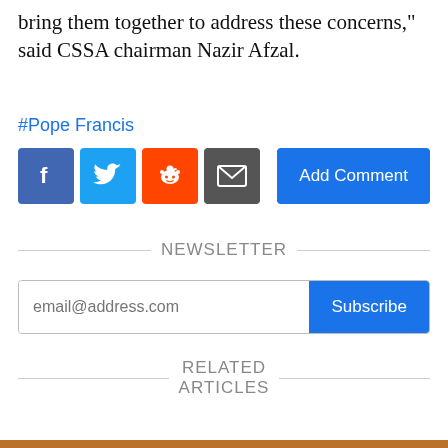bring them together to address these concerns," said CSSA chairman Nazir Afzal.
#Pope Francis
[Figure (other): Social sharing buttons: Facebook, Twitter, Reddit, Email, and an Add Comment button]
NEWSLETTER
[Figure (other): Email subscription input field with placeholder 'email@address.com' and a Subscribe button]
RELATED ARTICLES